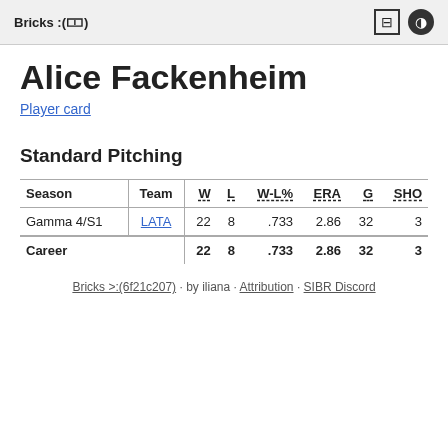Bricks :(🀱)
Alice Fackenheim
Player card
Standard Pitching
| Season | Team | W | L | W-L% | ERA | G | SHO |
| --- | --- | --- | --- | --- | --- | --- | --- |
| Gamma 4/S1 | LATA | 22 | 8 | .733 | 2.86 | 32 | 3 |
| Career |  | 22 | 8 | .733 | 2.86 | 32 | 3 |
Bricks >:(6f21c207) · by iliana · Attribution · SIBR Discord